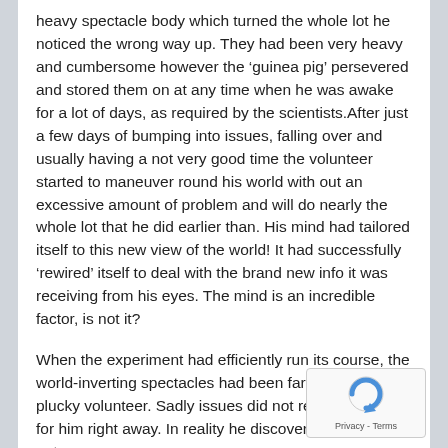heavy spectacle body which turned the whole lot he noticed the wrong way up. They had been very heavy and cumbersome however the ‘guinea pig’ persevered and stored them on at any time when he was awake for a lot of days, as required by the scientists.After just a few days of bumping into issues, falling over and usually having a not very good time the volunteer started to maneuver round his world with out an excessive amount of problem and will do nearly the whole lot that he did earlier than. His mind had tailored itself to this new view of the world! It had successfully ‘rewired’ itself to deal with the brand new info it was receiving from his eyes. The mind is an incredible factor, is not it?
When the experiment had efficiently run its course, the world-inverting spectacles had been faraway from the plucky volunteer. Sadly issues did not return to regular for him right away. In reality he discovered that with out